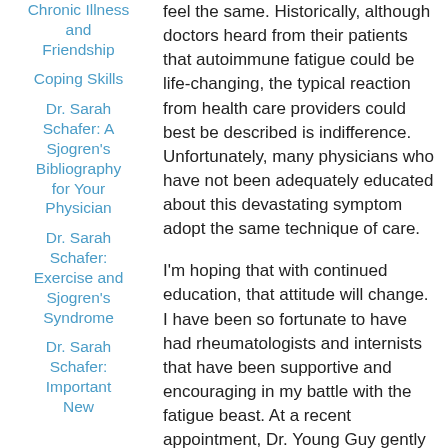Chronic Illness and Friendship
Coping Skills
Dr. Sarah Schafer: A Sjogren's Bibliography for Your Physician
Dr. Sarah Schafer: Exercise and Sjogren's Syndrome
Dr. Sarah Schafer: Important New
feel the same. Historically, although doctors heard from their patients that autoimmune fatigue could be life-changing, the typical reaction from health care providers could best be described is indifference. Unfortunately, many physicians who have not been adequately educated about this devastating symptom adopt the same technique of care.
I'm hoping that with continued education, that attitude will change. I have been so fortunate to have had rheumatologists and internists that have been supportive and encouraging in my battle with the fatigue beast. At a recent appointment, Dr. Young Guy gently acknowledged to